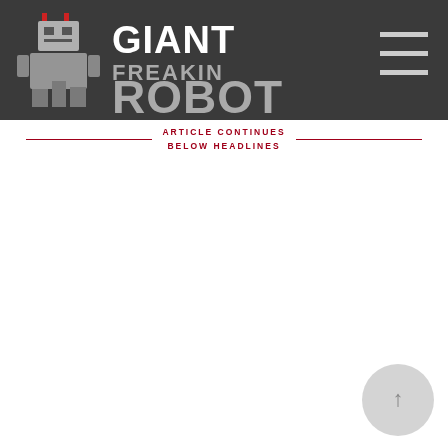Giant Freakin Robot
ARTICLE CONTINUES
BELOW HEADLINES
[Figure (logo): Gray circle with up-arrow icon in bottom right corner]